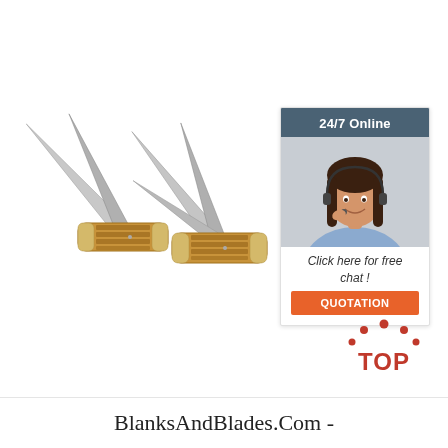[Figure (photo): Two folding pocket knives with amber/stag bone handles and multiple silver blades open, displayed on white background]
[Figure (infographic): Customer service chat widget: dark teal header '24/7 Online', photo of smiling female agent with headset, italic text 'Click here for free chat !', orange button 'QUOTATION']
[Figure (logo): TOP badge with red dots forming an arch above text 'TOP' in red]
BlanksAndBlades.Com -